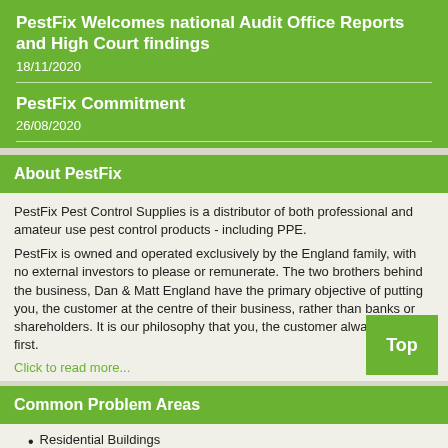PestFix Welcomes national Audit Office Reports and High Court findings
18/11/2020
PestFix Commitment
26/08/2020
About PestFix
PestFix Pest Control Supplies is a distributor of both professional and amateur use pest control products - including PPE.
PestFix is owned and operated exclusively by the England family, with no external investors to please or remunerate. The two brothers behind the business, Dan & Matt England have the primary objective of putting you, the customer at the centre of their business, rather than banks or shareholders. It is our philosophy that you, the customer always comes first.
Click to read more...
Common Problem Areas
Residential Buildings